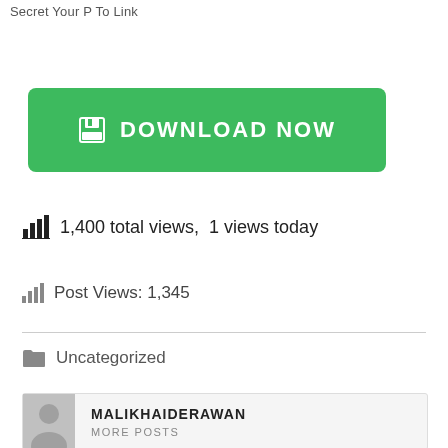Secret Your P To Link
[Figure (other): Green download button with floppy disk icon and text DOWNLOAD NOW]
1,400 total views,  1 views today
Post Views: 1,345
Uncategorized
MALIKHAIDERAWAN
MORE POSTS